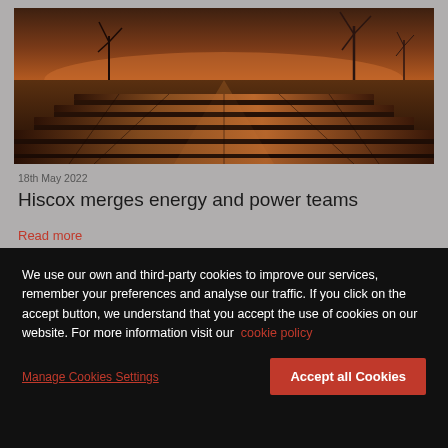[Figure (photo): Aerial photo of solar panels at sunset/dusk with wind turbines in the background, orange-brown tones]
18th May 2022
Hiscox merges energy and power teams
Read more
We use our own and third-party cookies to improve our services, remember your preferences and analyse our traffic. If you click on the accept button, we understand that you accept the use of cookies on our website. For more information visit our  cookie policy
Manage Cookies Settings
Accept all Cookies